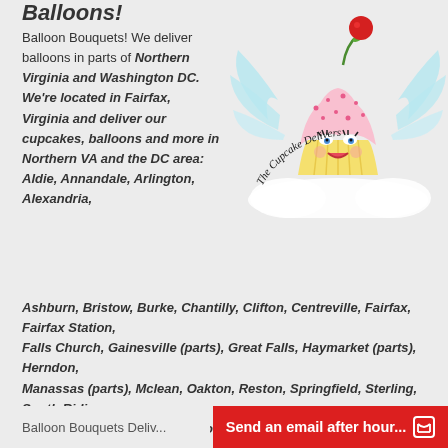Balloons!
[Figure (logo): The Cupcake Delivers logo: an illustrated cupcake with wings, a face, and a cherry on top, with cursive text reading 'The Cupcake Delivers']
Balloon Bouquets! We deliver balloons in parts of Northern Virginia and Washington DC. We're located in Fairfax, Virginia and deliver our cupcakes, balloons and more in Northern VA and the DC area: Aldie, Annandale, Arlington, Alexandria, Ashburn, Bristow, Burke, Chantilly, Clifton, Centreville, Fairfax, Fairfax Station, Falls Church, Gainesville (parts), Great Falls, Haymarket (parts), Herndon, Manassas (parts), Mclean, Oakton, Reston, Springfield, Sterling, South Riding, Tysons, Vienna and Washington DC. Don't see the area you're looking for? Let us know! We may be able to do it!
Balloon Bouquets Deliv...
Send an email after hour...